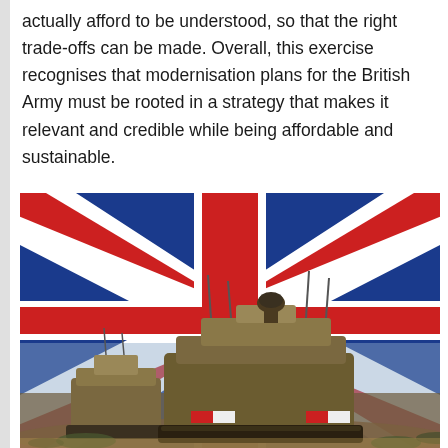actually afford to be understood, so that the right trade-offs can be made. Overall, this exercise recognises that modernisation plans for the British Army must be rooted in a strategy that makes it relevant and credible while being affordable and sustainable.
[Figure (photo): British Army armoured vehicles (Boxer/Warrior type AFVs) driving through desert terrain with a large Union Jack flag waving in the background against a blue sky]